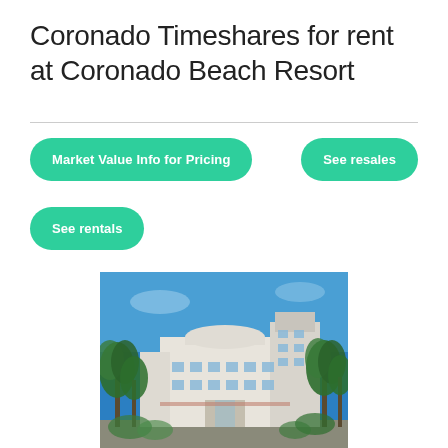Coronado Timeshares for rent at Coronado Beach Resort
Market Value Info for Pricing
See resales
See rentals
[Figure (photo): Photo of Coronado Beach Resort building — a white multi-story Art Deco style hotel surrounded by palm trees under a clear blue sky]